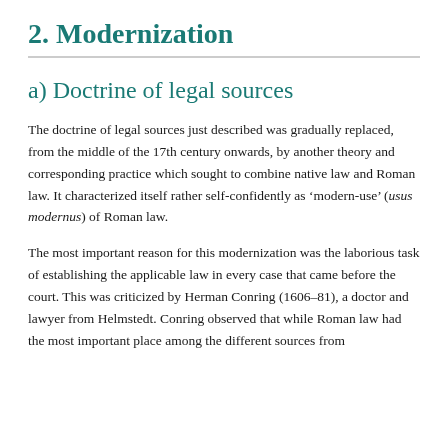2. Modernization
a) Doctrine of legal sources
The doctrine of legal sources just described was gradually replaced, from the middle of the 17th century onwards, by another theory and corresponding practice which sought to combine native law and Roman law. It characterized itself rather self-confidently as ‘modern-use’ (usus modernus) of Roman law.
The most important reason for this modernization was the laborious task of establishing the applicable law in every case that came before the court. This was criticized by Herman Conring (1606–81), a doctor and lawyer from Helmstedt. Conring observed that while Roman law had the most important place among the different sources from